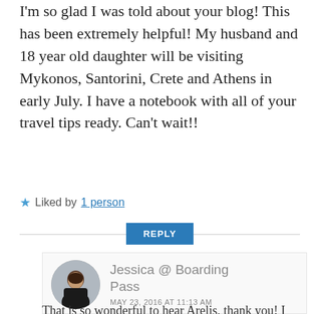I'm so glad I was told about your blog! This has been extremely helpful! My husband and 18 year old daughter will be visiting Mykonos, Santorini, Crete and Athens in early July. I have a notebook with all of your travel tips ready. Can't wait!!
Liked by 1 person
REPLY
Jessica @ Boarding Pass
MAY 23, 2016 AT 11:13 AM
That is so wonderful to hear Arelis, thank you! I